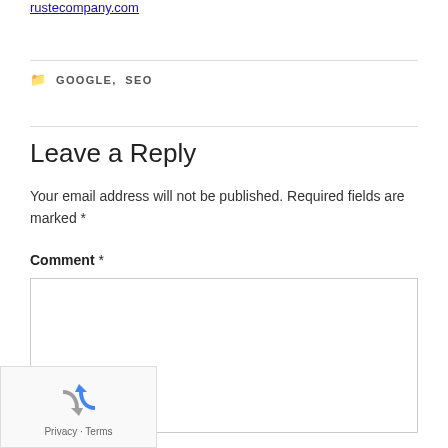rustecompany.com
GOOGLE, SEO
Leave a Reply
Your email address will not be published. Required fields are marked *
Comment *
[Figure (other): reCAPTCHA widget with spinning arrows logo and Privacy - Terms links]